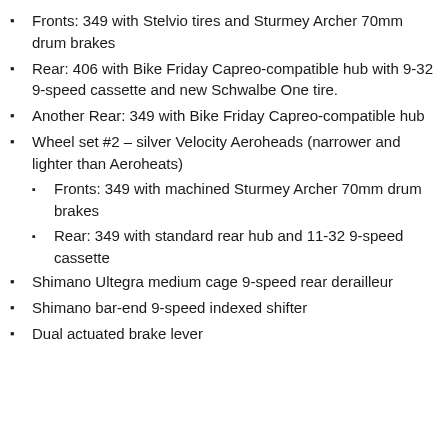Fronts: 349 with Stelvio tires and Sturmey Archer 70mm drum brakes
Rear: 406 with Bike Friday Capreo-compatible hub with 9-32 9-speed cassette and new Schwalbe One tire.
Another Rear: 349 with Bike Friday Capreo-compatible hub
Wheel set #2 – silver Velocity Aeroheads (narrower and lighter than Aeroheats)
Fronts: 349 with machined Sturmey Archer 70mm drum brakes
Rear: 349 with standard rear hub and 11-32 9-speed cassette
Shimano Ultegra medium cage 9-speed rear derailleur
Shimano bar-end 9-speed indexed shifter
Dual actuated brake lever